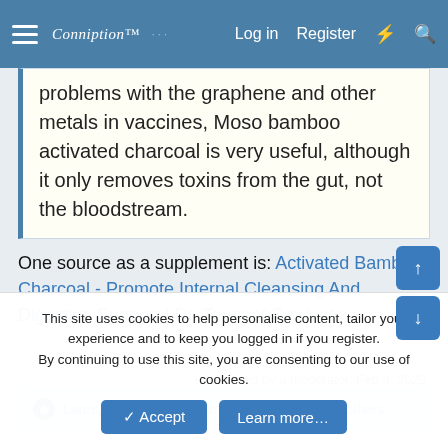Conniption [logo] | Log in | Register
problems with the graphene and other metals in vaccines, Moso bamboo activated charcoal is very useful, although it only removes toxins from the gut, not the bloodstream.
One source as a supplement is: Activated Bamboo Charcoal - Promote Internal Cleansing And Digestive Support | Dr. Tennant Products
Last edited by a moderator: Feb 4, 2022
Laurs, Tuatha de Danaan, Deliverance and 4 others
gavsachal
This site uses cookies to help personalise content, tailor your experience and to keep you logged in if you register. By continuing to use this site, you are consenting to our use of cookies.
Accept | Learn more...